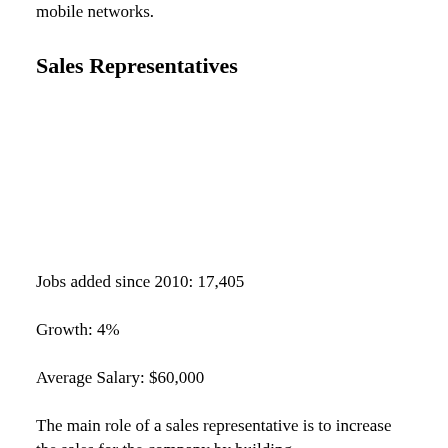mobile networks.
Sales Representatives
Jobs added since 2010: 17,405
Growth: 4%
Average Salary: $60,000
The main role of a sales representative is to increase the sales for the company by building